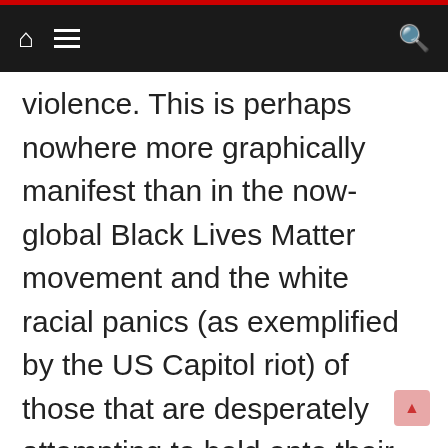Navigation bar with home icon, menu icon, and search icon
violence. This is perhaps nowhere more graphically manifest than in the now-global Black Lives Matter movement and the white racial panics (as exemplified by the US Capitol riot) of those that are desperately attempting to hold onto their racialised power, privilege and entitlements – all garnered thanks to histories of imperialism, colonialism and racial